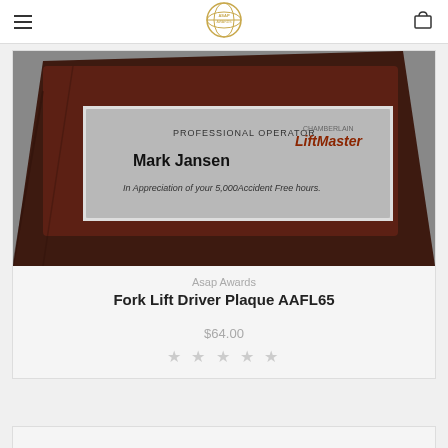ASAP Awards
[Figure (photo): Close-up of a dark wood plaque with a silver engraved plate reading PROFESSIONAL OPERATOR, LiftMaster, Mark Jansen, In Appreciation of your 5,000 Accident Free hours.]
Asap Awards
Fork Lift Driver Plaque AAFL65
$64.00
★★★★★